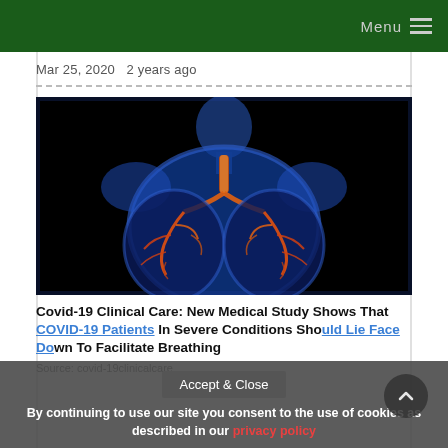Menu
Mar 25, 2020  2 years ago
[Figure (illustration): Medical illustration of a human torso (blue silhouette) with glowing orange/amber lungs and bronchial tree visible inside, on a black background.]
Covid-19 Clinical Care: New Medical Study Shows That COVID-19 Patients In Severe Conditions Should Lie Face Down To Facilitate Breathing
Source: covid-19clinicalcare
Mar 25, 2020  2 years ago
Accept & Close
By continuing to use our site you consent to the use of cookies as described in our privacy policy